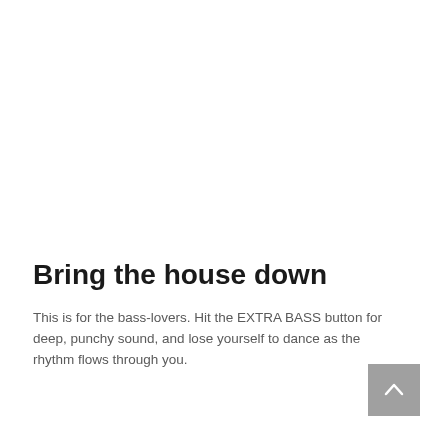Bring the house down
This is for the bass-lovers. Hit the EXTRA BASS button for deep, punchy sound, and lose yourself to dance as the rhythm flows through you.
[Figure (other): Back-to-top navigation button: a grey square button with an upward-pointing chevron arrow in white]